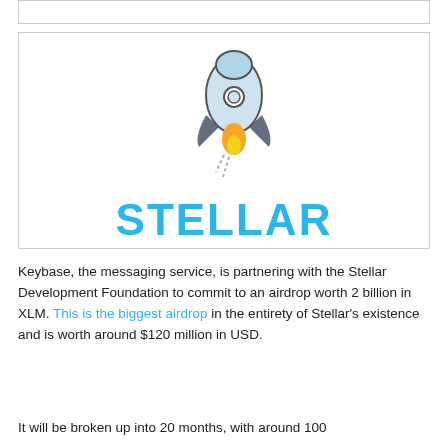[Figure (logo): Stellar logo: a rocket emoji illustration above the word STELLAR in bold cyan/blue uppercase letters, inside a bordered box]
Keybase, the messaging service, is partnering with the Stellar Development Foundation to commit to an airdrop worth 2 billion in XLM. This is the biggest airdrop in the entirety of Stellar's existence and is worth around $120 million in USD.
It will be broken up into 20 months, with around 100